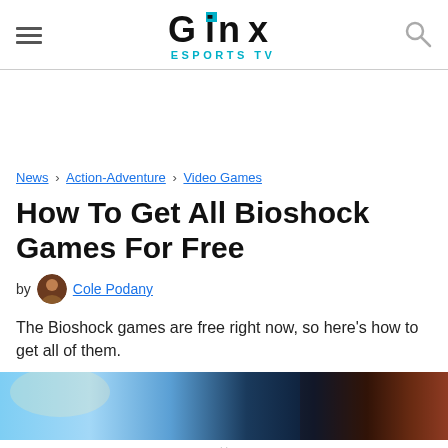GINX ESPORTSTV
News > Action-Adventure > Video Games
How To Get All Bioshock Games For Free
by Cole Podany
The Bioshock games are free right now, so here's how to get all of them.
[Figure (photo): Hero image showing Bioshock game scenes]